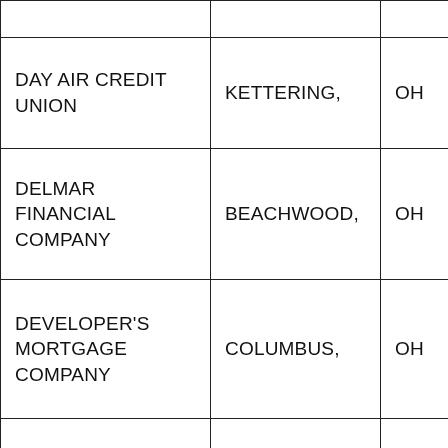|  |  |  |
| DAY AIR CREDIT UNION | KETTERING, | OH |
| DELMAR FINANCIAL COMPANY | BEACHWOOD, | OH |
| DEVELOPER'S MORTGAGE COMPANY | COLUMBUS, | OH |
| DITECH MORTGAGE CORP | COLUMBUS, | OH |